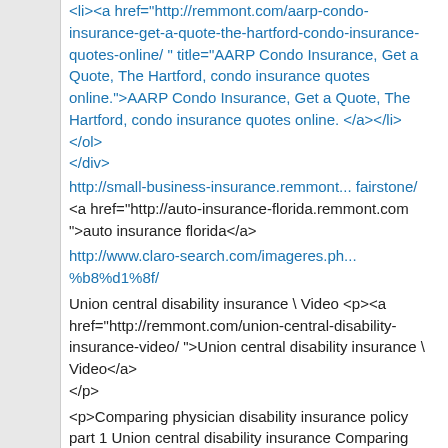<li><a href="http://remmont.com/aarp-condo-insurance-get-a-quote-the-hartford-condo-insurance-quotes-online/ " title="AARP Condo Insurance, Get a Quote, The Hartford, condo insurance quotes online.">AARP Condo Insurance, Get a Quote, The Hartford, condo insurance quotes online. </a></li>
</ol>
</div>
http://small-business-insurance.remmont... fairstone/ <a href="http://auto-insurance-florida.remmont.com ">auto insurance florida</a>
http://www.claro-search.com/imageres.ph... %b8%d1%8f/
Union central disability insurance \ Video <p><a href="http://remmont.com/union-central-disability-insurance-video/ ">Union central disability insurance \ Video</a></p>
<p>Comparing physician disability insurance policy part 1 Union central disability insurance Comparing Disability Insurance Policies Part 1 Edit...